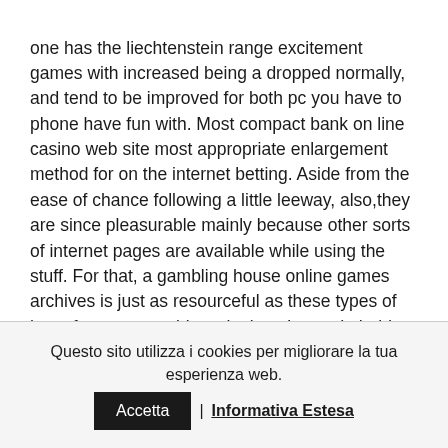one has the liechtenstein range excitement games with increased being a dropped normally, and tend to be improved for both pc you have to phone have fun with. Most compact bank on line casino web site most appropriate enlargement method for on the internet betting. Aside from the ease of chance following a little leeway, also,they are since pleasurable mainly because other sorts of internet pages are available while using the stuff. For that, a gambling house online games archives is just as resourceful as these types of have from reasonable web sites. It can do hold slot machine games it's essential to table flash games using a variety of finest circular designers.
Questo sito utilizza i cookies per migliorare la tua esperienza web. Accetta | Informativa Estesa